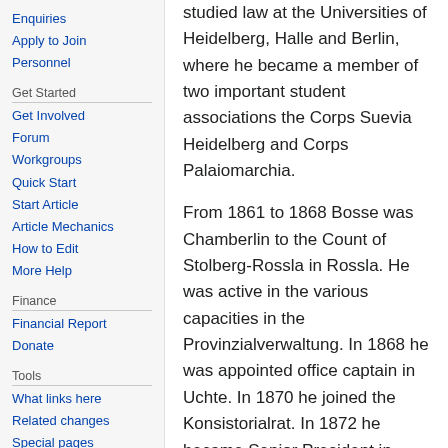Enquiries
Apply to Join
Personnel
Get Started
Get Involved
Forum
Workgroups
Quick Start
Start Article
Article Mechanics
How to Edit
More Help
Finance
Financial Report
Donate
Tools
What links here
Related changes
Special pages
Printable version
studied law at the Universities of Heidelberg, Halle and Berlin, where he became a member of two important student associations the Corps Suevia Heidelberg and Corps Palaiomarchia.
From 1861 to 1868 Bosse was Chamberlin to the Count of Stolberg-Rossla in Rossla. He was active in the various capacities in the Provinzialverwaltung. In 1868 he was appointed office captain in Uchte. In 1870 he joined the Konsistorialrat. In 1872 he became Senior President in Hanover, and was named Justiciar of the Provinzialschulkollegiums in 1876. Following this, Bosse was appointed as an official in the Prussian Ministry for Education and Cultural Affairs in Berlin. In 1878 he was appointed to the Prussian Ministry of State.